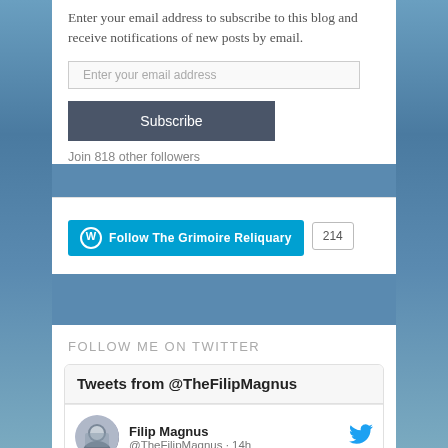Enter your email address to subscribe to this blog and receive notifications of new posts by email.
[Figure (screenshot): Email input field with placeholder text 'Enter your email address']
[Figure (screenshot): Subscribe button (dark gray)]
Join 818 other followers
[Figure (screenshot): WordPress Follow The Grimoire Reliquary button with count 214]
FOLLOW ME ON TWITTER
[Figure (screenshot): Twitter widget showing Tweets from @TheFilipMagnus, with user Filip Magnus (@TheFilipMagnus · 14h)]